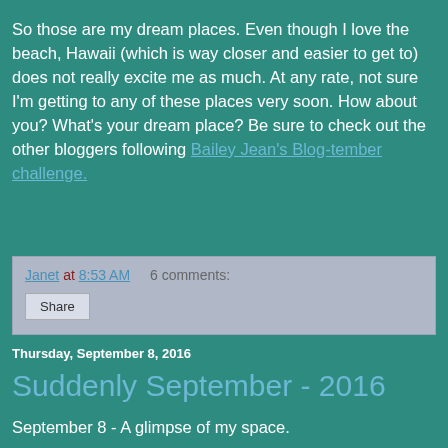So those are my dream places.  Even though I love the beach, Hawaii (which is way closer and easier to get to) does not really excite me as much.  At any rate, not sure I'm getting to any of these places very soon.  How about you?  What's your dream place?  Be sure to check out the other bloggers following Bailey Jean's Blog-tember challenge.
Janet at 8:53 AM   6 comments:
Share
Thursday, September 8, 2016
Suddenly September - 2016
September 8 - A glimpse of my space.